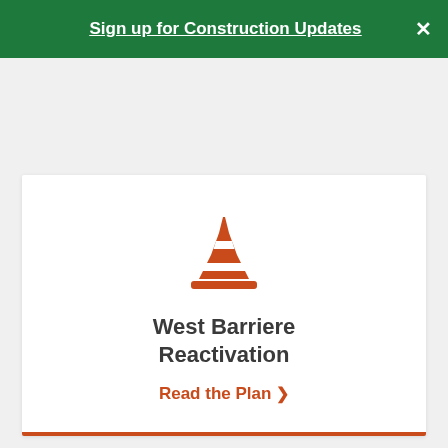Sign up for Construction Updates
[Figure (illustration): Orange traffic construction cone icon]
West Barriere Reactivation
Read the Plan >